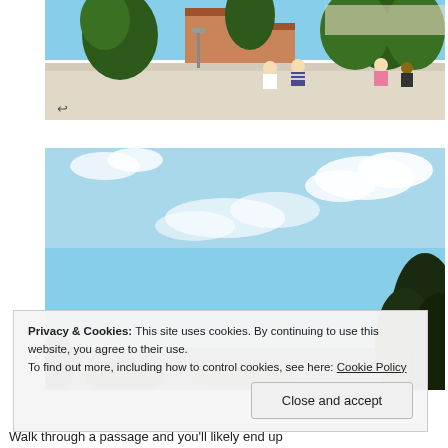[Figure (photo): Outdoor terrace or viewpoint with people sitting along a low wall, trees visible, buildings and city in the background, sunny day.]
[Figure (photo): Wide landscape photo showing a bright blue sky with scattered clouds, dark trees on the right edge, and a distant water or city horizon view.]
Privacy & Cookies: This site uses cookies. By continuing to use this website, you agree to their use.
To find out more, including how to control cookies, see here: Cookie Policy
Close and accept
Walk through a passage and you'll likely end up